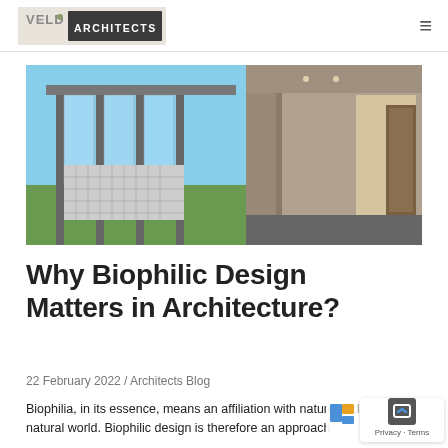VELD ARCHITECTS
[Figure (photo): Modern architectural building with glass walls, steel columns, and concrete block screen walls, shown alongside an interior corridor hallway photo]
Why Biophilic Design Matters in Architecture?
22 February 2022 / Architects Blog
Biophilia, in its essence, means an affiliation with nature and the natural world. Biophilic design is therefore an approach